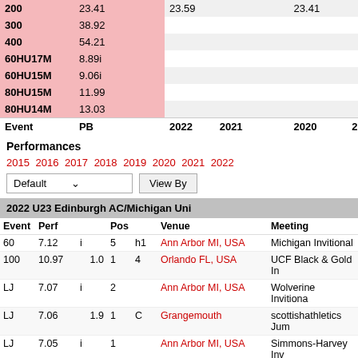| Event | PB | 2022 | 2021 | 2020 | 2019 | 2018 |
| --- | --- | --- | --- | --- | --- | --- |
| 200 | 23.41 | 23.59 |  | 23.41 |  | 23.76 |
| 300 | 38.92 |  |  |  |  |  |
| 400 | 54.21 |  |  |  |  |  |
| 60HU17M | 8.89i |  |  |  |  | 8.90i |
| 60HU15M | 9.06i |  |  |  |  |  |
| 80HU15M | 11.99 |  |  |  |  |  |
| 80HU14M | 13.03 |  |  |  |  |  |
| Event | PB | 2022 | 2021 | 2020 | 2019 | 2018 |
Performances
2015 2016 2017 2018 2019 2020 2021 2022
2022 U23 Edinburgh AC/Michigan Uni
| Event | Perf |  | Pos |  | Venue | Meeting |
| --- | --- | --- | --- | --- | --- | --- |
| 60 | 7.12 | i | 5 | h1 | Ann Arbor MI, USA | Michigan Invitational |
| 100 | 10.97 | 1.0 | 1 | 4 | Orlando FL, USA | UCF Black & Gold In |
| LJ | 7.07 | i | 2 |  | Ann Arbor MI, USA | Wolverine Invitational |
| LJ | 7.06 | 1.9 | 1 | C | Grangemouth | scottishathletics Jum |
| LJ | 7.05 | i | 1 |  | Ann Arbor MI, USA | Simmons-Harvey Inv |
| LJ | 6.99 | 0.5 | 6 | B | Durham NC, USA | Duke Invitational |
| LJ | 6.80 | -1.6 | 4 | B | Coral Gables FL, USA | Hurricane Invitational |
| LJ | NM |  | - | B | Orlando FL, USA | UCF Black & Gold In |